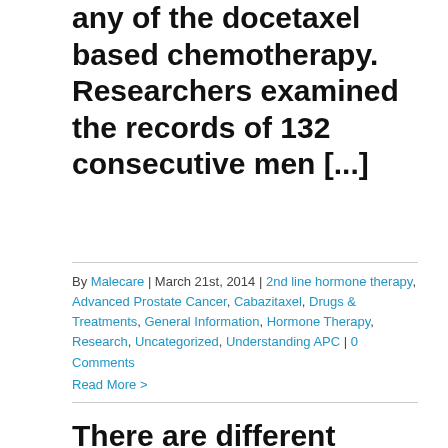any of the docetaxel based chemotherapy. Researchers examined the records of 132 consecutive men [...]
By Malecare | March 21st, 2014 | 2nd line hormone therapy, Advanced Prostate Cancer, Cabazitaxel, Drugs & Treatments, General Information, Hormone Therapy, Research, Uncategorized, Understanding APC | 0 Comments
Read More >
There are different methods of performing ADT; these methods include continuous or intermittent as well as differences in the actual blockade itself. Understanding the superior schedule as